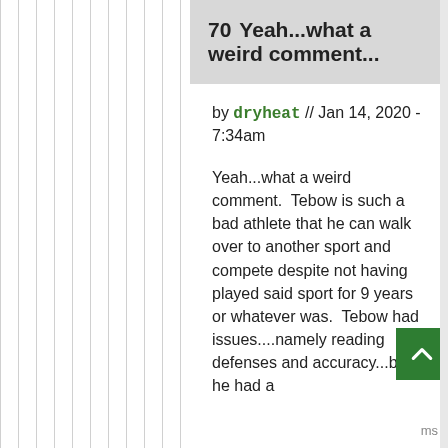70  Yeah...what a weird comment...
by dryheat // Jan 14, 2020 - 7:34am
Yeah...what a weird comment.  Tebow is such a bad athlete that he can walk over to another sport and compete despite not having played said sport for 9 years or whatever was.  Tebow had issues....namely reading defenses and accuracy...but if he had a